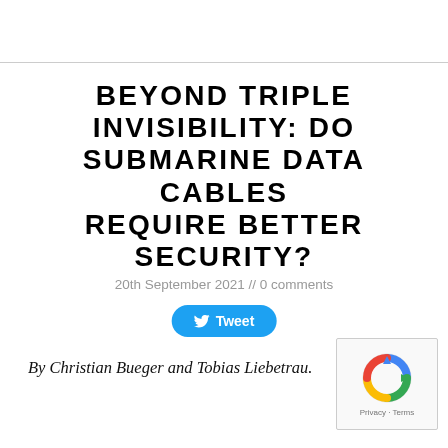BEYOND TRIPLE INVISIBILITY: DO SUBMARINE DATA CABLES REQUIRE BETTER SECURITY?
20th September 2021 // 0 comments
Tweet
By Christian Bueger and Tobias Liebetrau.